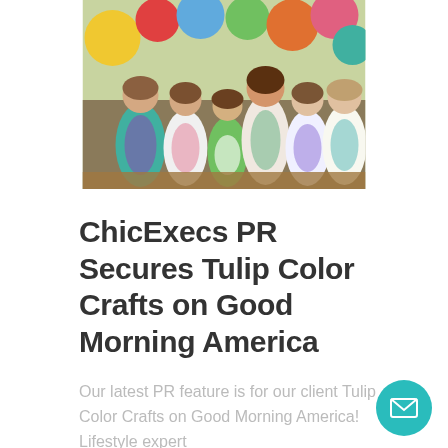[Figure (photo): Group of children wearing colorful tie-dye clothing, posing together in front of a backdrop of colorful balloons. Festive outdoor setting.]
ChicExecs PR Secures Tulip Color Crafts on Good Morning America
Our latest PR feature is for our client Tulip Color Crafts on Good Morning America! Lifestyle expert